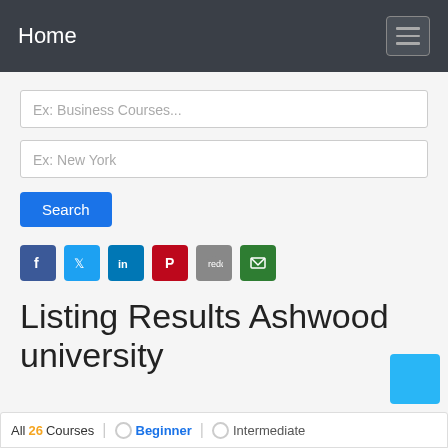Home
Ex: Business Courses...
Ex: New York
Search
[Figure (infographic): Social share icons: Facebook, Twitter, LinkedIn, Pinterest, Reddit, Email]
Listing Results Ashwood university
All 26 Courses   Beginner   Intermediate